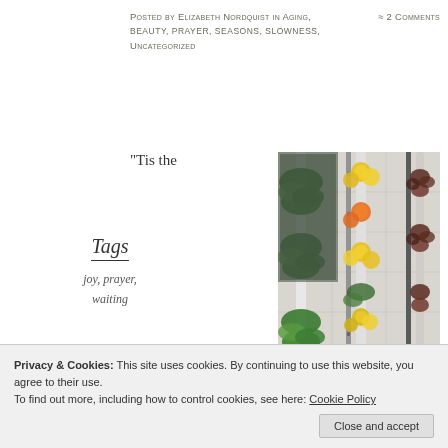Posted by Elizabeth Nordquist in Aging, Beauty, Prayer, Seasons, Slowness, Uncategorized ≈ 2 Comments
“Tis the
Tags
joy, prayer, waiting
[Figure (photo): Vertical garden columns with green leafy plants, yellow and orange marigold flowers, and dark reddish-brown plants growing in white vertical tower planters with metal supports, set against a tiled wall background.]
Privacy & Cookies: This site uses cookies. By continuing to use this website, you agree to their use.
To find out more, including how to control cookies, see here: Cookie Policy
Close and accept